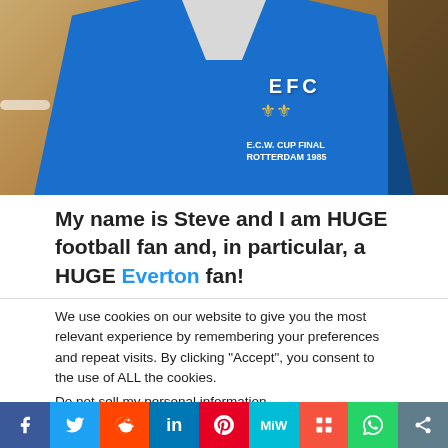[Figure (photo): Man wearing a blue Everton FC shirt with EFC crest and text E.C.W. Cup Final Rotterdam on it, standing indoors]
My name is Steve and I am HUGE football fan and, in particular, a HUGE Everton fan!
We use cookies on our website to give you the most relevant experience by remembering your preferences and repeat visits. By clicking “Accept”, you consent to the use of ALL the cookies.
Do not sell my personal information.
Cookie Settings | Accept
f | Twitter bird | Reddit | in | Pinterest | MiW | Mix | WhatsApp | Share